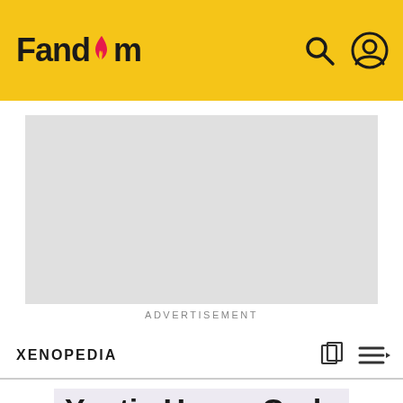Fandom
[Figure (other): Advertisement placeholder — gray rectangle]
ADVERTISEMENT
XENOPEDIA
Yautja Honor Code
[Figure (photo): Hero image with diagonal red/dark stripes background and a person in dark clothing with a bird on their shoulder]